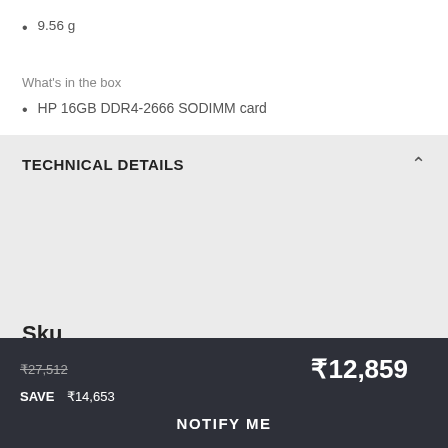9.56 g
What's in the box
HP 16GB DDR4-2666 SODIMM card
TECHNICAL DETAILS
Sku
3TK84AA
₹27,512  ₹12,859  SAVE  ₹14,653
NOTIFY ME